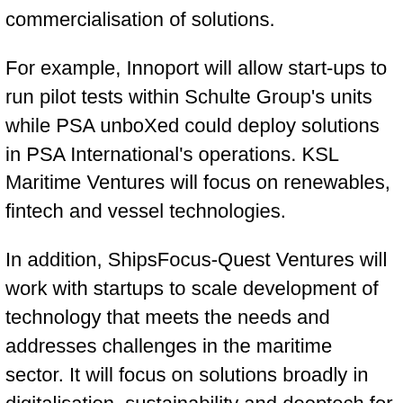commercialisation of solutions.
For example, Innoport will allow start-ups to run pilot tests within Schulte Group's units while PSA unboXed could deploy solutions in PSA International's operations. KSL Maritime Ventures will focus on renewables, fintech and vessel technologies.
In addition, ShipsFocus-Quest Ventures will work with startups to scale development of technology that meets the needs and addresses challenges in the maritime sector. It will focus on solutions broadly in digitalisation, sustainability and deeptech for maritime commerce. Meanwhile, TecPier will partner with startups developing smart, data-driven solutions to transform